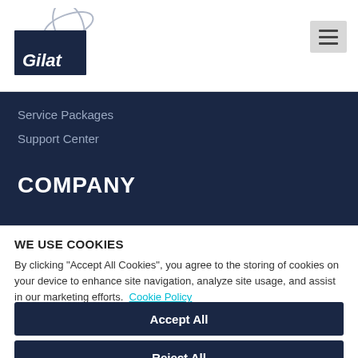[Figure (logo): Gilat Satellite Networks logo – blue square with white 'Gilat' text and circular orbit graphic in grey above]
[Figure (other): Hamburger menu icon (three horizontal lines) on grey background]
Service Packages
Support Center
COMPANY
About Us
WE USE COOKIES
By clicking "Accept All Cookies", you agree to the storing of cookies on your device to enhance site navigation, analyze site usage, and assist in our marketing efforts.  Cookie Policy